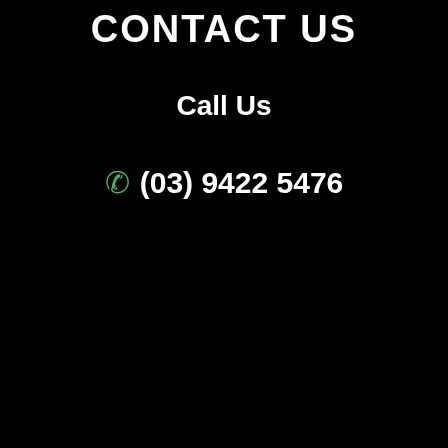CONTACT US
Call Us
(03) 9422 5476